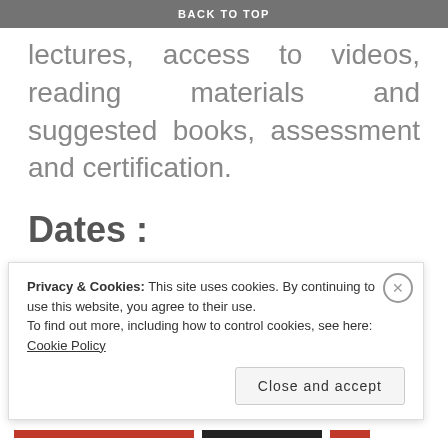BACK TO TOP
lectures, access to videos, reading materials and suggested books, assessment and certification.
Dates :
Choose any one suitable batch
Sunday (most suitable for
Privacy & Cookies: This site uses cookies. By continuing to use this website, you agree to their use.
To find out more, including how to control cookies, see here: Cookie Policy
Close and accept